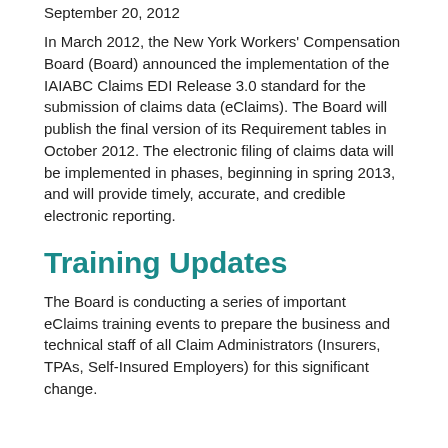September 20, 2012
In March 2012, the New York Workers' Compensation Board (Board) announced the implementation of the IAIABC Claims EDI Release 3.0 standard for the submission of claims data (eClaims). The Board will publish the final version of its Requirement tables in October 2012. The electronic filing of claims data will be implemented in phases, beginning in spring 2013, and will provide timely, accurate, and credible electronic reporting.
Training Updates
The Board is conducting a series of important eClaims training events to prepare the business and technical staff of all Claim Administrators (Insurers, TPAs, Self-Insured Employers) for this significant change.